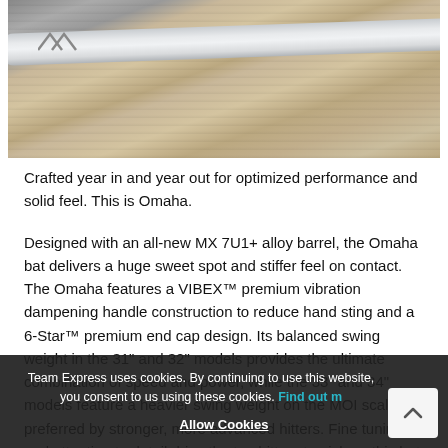[Figure (photo): Close-up photo of a baseball bat with silver/chrome finish and chevron logo resting on a weathered wooden surface]
Crafted year in and year out for optimized performance and solid feel. This is Omaha.
Designed with an all-new MX 7U1+ alloy barrel, the Omaha bat delivers a huge sweet spot and stiffer feel on contact. The Omaha features a VIBEX™ premium vibration dampening handle construction to reduce hand sting and a 6-Star™ premium end cap design. Its balanced swing weight in the 31" and 32" models provides the ultimate combination of speed and power, while the 33" and 34" models feature a heavier swing weight on the MOI scale, preferred by stronger, more advanced hitters. Fine tuning and attention to detail drive the top hitters to pick up this bat year after year.
Team Express uses cookies. By continuing to use this website, you consent to us using these cookies. Find out more Allow Cookies